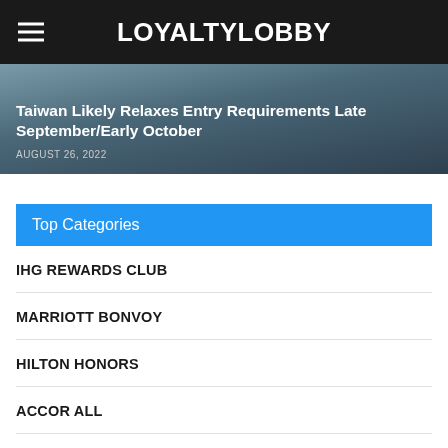LOYALTYLOBBY
[Figure (screenshot): Article banner with dark blue-grey background showing article title and date]
Taiwan Likely Relaxes Entry Requirements Late September/Early October
AUGUST 26, 2022
Top Categories
IHG REWARDS CLUB
MARRIOTT BONVOY
HILTON HONORS
ACCOR ALL
AIRFARE OF THE DAY
STARWOOD PREFERRED GUEST (SPG)